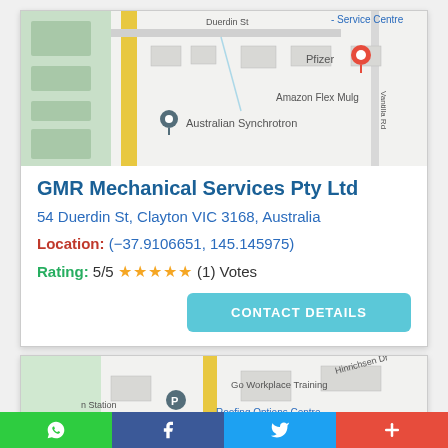[Figure (map): Google Maps screenshot showing Australian Synchrotron, Pfizer, Amazon Flex Mulg, Duerdin St area]
GMR Mechanical Services Pty Ltd
54 Duerdin St, Clayton VIC 3168, Australia
Location: (−37.9106651, 145.145975)
Rating: 5/5 ★★★★★ (1) Votes
CONTACT DETAILS
[Figure (map): Google Maps screenshot showing Go Workplace Training, Roofing Options Centre, Hallam Station, Hinrichsen Dr area]
WhatsApp | Facebook | Twitter | More